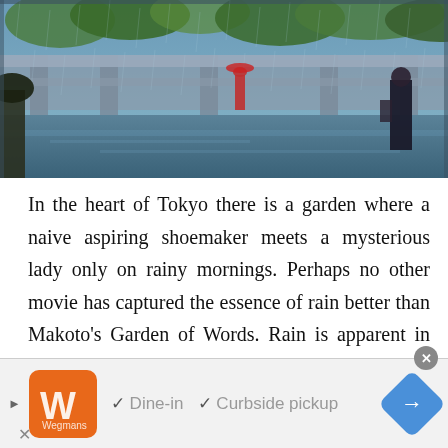[Figure (illustration): Anime scene from Garden of Words showing a rainy garden setting with architectural structures, trees, and two figures in the rain. Blue-green atmospheric color palette.]
In the heart of Tokyo there is a garden where a naive aspiring shoemaker meets a mysterious lady only on rainy mornings. Perhaps no other movie has captured the essence of rain better than Makoto's Garden of Words. Rain is apparent in almost every frame of this spectacular anime, and it's not there just to create striking images, it serves as connecting tissue. It's about thunder clap that ignites the spark of passion and dissolves the invisible barrier between ever
[Figure (other): Advertisement banner for Wegmans restaurant showing logo, play button, checkmarks for Dine-in and Curbside pickup options, and a blue navigation arrow icon.]